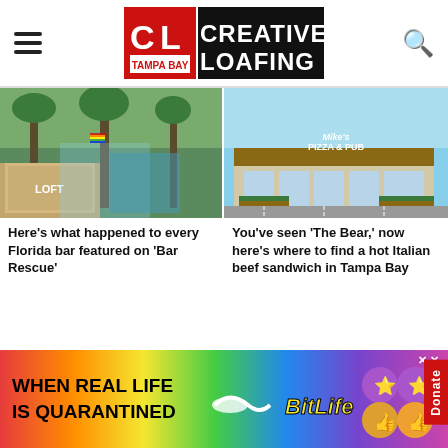Creative Loafing Tampa Bay
[Figure (photo): Outdoor bar/street area with colorful tents and string lights, trees, urban street scene]
Here's what happened to every Florida bar featured on 'Bar Rescue'
[Figure (photo): Mike's Pizza & Pub restaurant exterior, beige building with large windows and landscaping]
You've seen 'The Bear,' now here's where to find a hot Italian beef sandwich in Tampa Bay
[Figure (photo): Dark interior venue with blue lighting and people]
[Figure (photo): Taqueria Xtreme Tacos restaurant exterior with colorful sign and palm trees]
[Figure (advertisement): BitLife mobile game ad with rainbow background, text: WHEN REAL LIFE IS QUARANTINED BitLife]